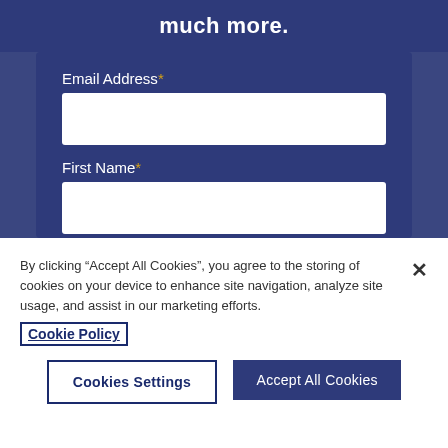much more.
Email Address*
First Name*
Country*
France
By clicking “Accept All Cookies”, you agree to the storing of cookies on your device to enhance site navigation, analyze site usage, and assist in our marketing efforts.
Cookie Policy
Cookies Settings
Accept All Cookies